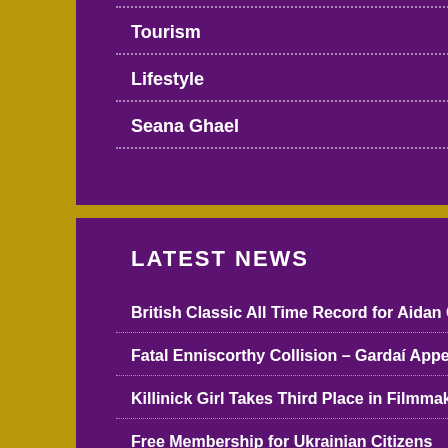Tourism
Lifestyle
Seana Ghael
LATEST NEWS
British Classic All Time Record for Aidan O'Brien
Fatal Enniscorthy Collision – Gardaí Appeal for Witnesses
Killinick Girl Takes Third Place in Filmmaker Awards
Free Membership for Ukrainian Citizens